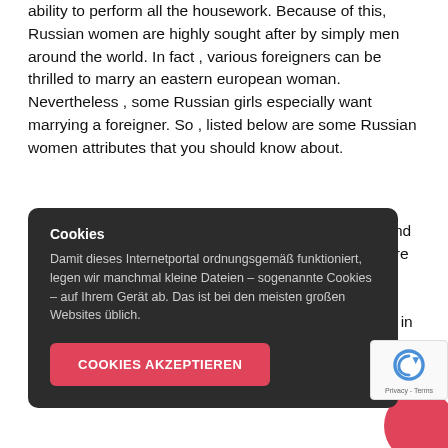ability to perform all the housework. Because of this, Russian women are highly sought after by simply men around the world. In fact , various foreigners can be thrilled to marry an eastern european woman. Nevertheless , some Russian girls especially want marrying a foreigner. So , listed below are some Russian women attributes that you should know about.
Loyalty. Russian women happen to be kind, faithful, and individual. They are faithful to their companions, but are likely to dislike unfaithful men. If you date a Russian woman, you will need to be a faithful, patient, and dependable partner. And don't end up being surprised in the fact that even the most attractive woman curious about ever satisfied. You won't repent marrying an eastern european woman.
[Figure (screenshot): Cookie consent overlay popup in German. Title: 'Cookies'. Body text explains that the portal uses cookies (kleine Dateien – sogenannte Cookies) on the user's device for normal functioning. A red button labeled 'COOKIES AKZEPTIEREN' is shown.]